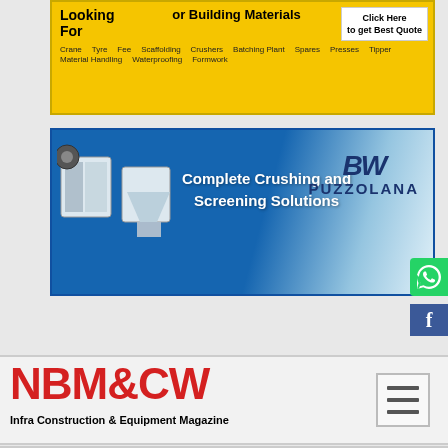[Figure (infographic): Yellow banner advertisement: 'Looking For' construction equipment or Building Materials with tags like Crane, Crushers, Tipper, Batching Plant, Material Handling, Spares, Waterproofing, Formwork, Scaffolding, Press, with Click Here to get Best Quote button]
[Figure (infographic): Blue Puzzolana banner: Complete Crushing and Screening Solutions with machinery images and Puzzolana logo]
[Figure (logo): NBM&CW - Infra Construction & Equipment Magazine logo with hamburger menu icon]
Volvo CE India Displays new Block Handler (BH) Crawler Excavator, Excavator with Vibro Ripper, Soil Compactor, Track Paver, and Asphalt Compactor
For EXCON, Volvo CE India lined up an interesting mix of time-tested, quality machines and brand-new exciting equipment. On display was a new model - the EC300DL